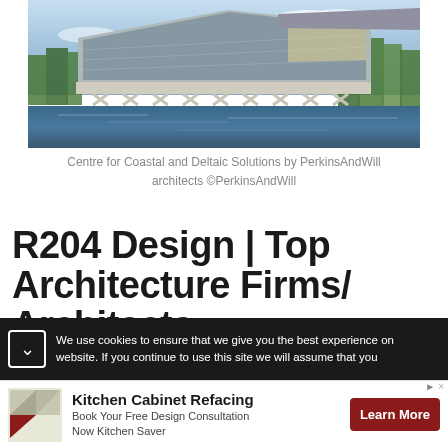[Figure (photo): Photograph of the Centre for Coastal and Deltaic Solutions building by PerkinsAndWill — a modern angular structure with triangular facade elements, sitting over water, with trees in background and blue sky]
Centre for Coastal and Deltaic Solutions by PerkinsAndWill architects ©PerkinsAndWill
R204 Design | Top Architecture Firms/ Architects
We use cookies to ensure that we give you the best experience on website. If you continue to use this site we will assume that you
[Figure (infographic): Advertisement banner: Kitchen Cabinet Refacing — Book Your Free Design Consultation Now Kitchen Saver — Learn More button]